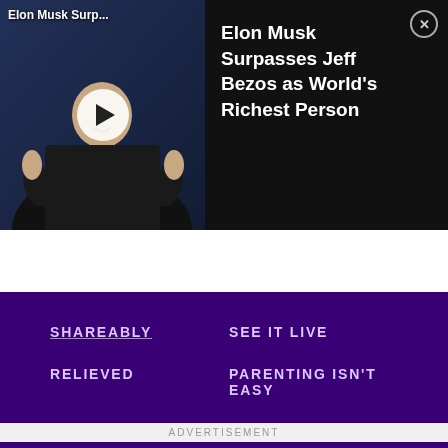[Figure (screenshot): Video thumbnail showing Elon Musk giving thumbs up with a play button overlay and title 'Elon Musk Surp...' on a dark background]
Elon Musk Surpasses Jeff Bezos as World's Richest Person
SHAREABLY
SEE IT LIVE
RELIEVED
PARENTING ISN'T EASY
SWEET & SAVORY
SPOTLIGHT
ANIMAL CHANNEL
HOME HACKS
ADVERTISEMENT